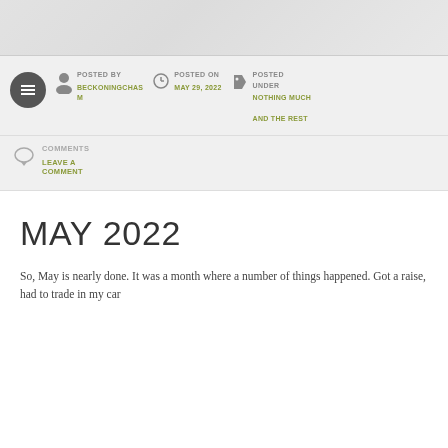[Figure (other): Gray textured header banner]
POSTED BY
BECKONINGCHASM
POSTED ON
MAY 29, 2022
POSTED UNDER
NOTHING MUCH
AND THE REST
COMMENTS
LEAVE A COMMENT
MAY 2022
So, May is nearly done. It was a month where a number of things happened. Got a raise, had to trade in my car